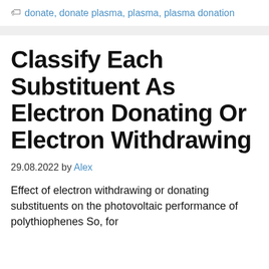🏷 donate, donate plasma, plasma, plasma donation
Classify Each Substituent As Electron Donating Or Electron Withdrawing
29.08.2022 by Alex
Effect of electron withdrawing or donating substituents on the photovoltaic performance of polythiophenes So, for